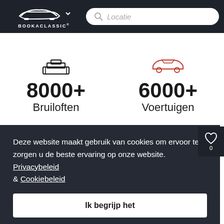[Figure (logo): BookAClassic logo — white classic car silhouette with dropdown arrow, and 'BOOKACLASSIC' text below]
Locatie
8000+ Bruiloften
6000+ Voertuigen
Deze website maakt gebruik van cookies om ervoor te zorgen u de beste ervaring op onze website.  Privacybeleid & Cookiebeleid
Ik begrijp het
If it's American limousines and wedding